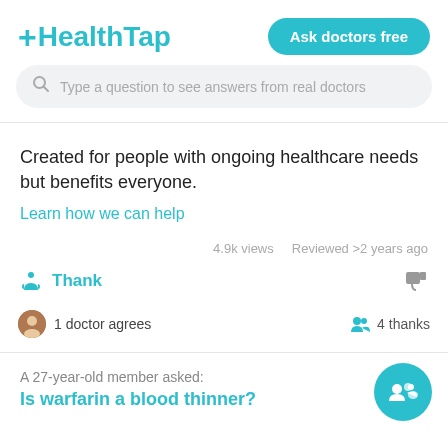[Figure (logo): HealthTap logo with teal plus sign and teal text]
Ask doctors free
[Figure (screenshot): Search bar with placeholder: Type a question to see answers from real doctors]
Created for people with ongoing healthcare needs but benefits everyone.
Learn how we can help
4.9k views   Reviewed >2 years ago
Thank
1 doctor agrees
4 thanks
A 27-year-old member asked:
Is warfarin a blood thinner?